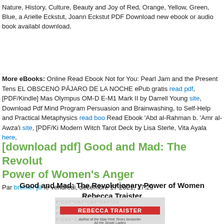Nature, History, Culture, Beauty and Joy of Red, Orange, Yellow, Green, Blue, a Arielle Eckstut, Joann Eckstut PDF Download new ebook or audio book available download.
More eBooks: Online Read Ebook Not for You: Pearl Jam and the Present Tens EL OBSCENO PÁJARO DE LA NOCHE ePub gratis read pdf, [PDF/Kindle] Mas Olympus OM-D E-M1 Mark II by Darrell Young site, Download Pdf Mind Program Persuasion and Brainwashing, to Self-Help and Practical Metaphysics read boo Read Ebook &#039;Abd al-Rahman b. &#039;Amr al-Awza&#039;i site, [PDF/Ki Modern Witch Tarot Deck by Lisa Sterle, Vita Ayala here,
[download pdf] Good and Mad: The Revolutionary Power of Women's Anger
Par bremer jill le vendredi, décembre 17 2021, 17:29
Good and Mad: The Revolutionary Power of Women Rebecca Traister
[Figure (illustration): Book cover of Good and Mad by Rebecca Traister showing repeated F*CK text pattern in background with red author name banner and red GOOD text at bottom]